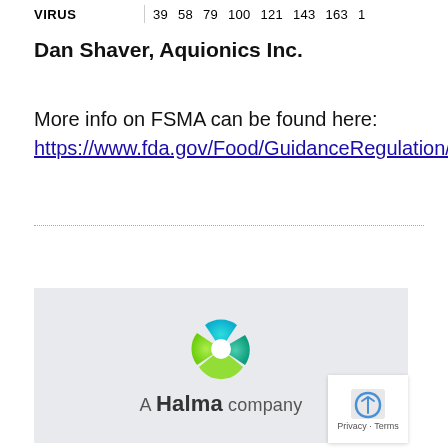|  | 39 | 58 | 79 | 100 | 121 | 143 | 163 | 1 |
| --- | --- | --- | --- | --- | --- | --- | --- | --- |
| VIRUS | 39 | 58 | 79 | 100 | 121 | 143 | 163 | 1 |
Dan Shaver, Aquionics Inc.
More info on FSMA can be found here:
https://www.fda.gov/Food/GuidanceRegulation/FSMA
[Figure (logo): Aquionics / A Halma company logo on light grey background. Circular green and teal multi-colored icon above text reading 'A Halma company'.]